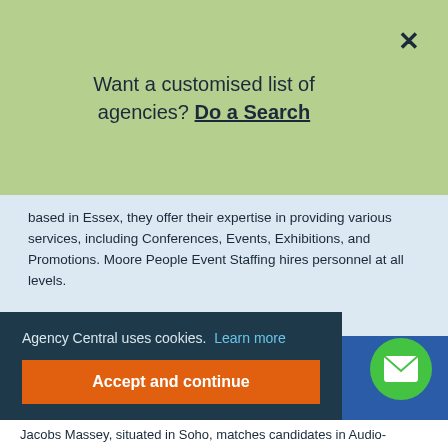Want a customised list of agencies? Do a Search
based in Essex, they offer their expertise in providing various services, including Conferences, Events, Exhibitions, and Promotions. Moore People Event Staffing hires personnel at all levels.
1st & 2nd Floor 169 High Road, Loughton, Essex, IG10 4LF
Display number
Visit website
Agency Central uses cookies. Learn more
Accept and continue
Jacobs Massey, situated in Soho, matches candidates in Audio-